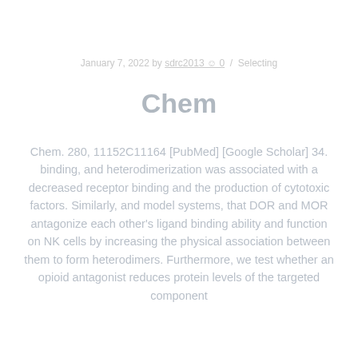January 7, 2022 by sdrc2013 ☺ 0  /  Selecting
Chem
Chem. 280, 11152C11164 [PubMed] [Google Scholar] 34. binding, and heterodimerization was associated with a decreased receptor binding and the production of cytotoxic factors. Similarly, and model systems, that DOR and MOR antagonize each other's ligand binding ability and function on NK cells by increasing the physical association between them to form heterodimers. Furthermore, we test whether an opioid antagonist reduces protein levels of the targeted component